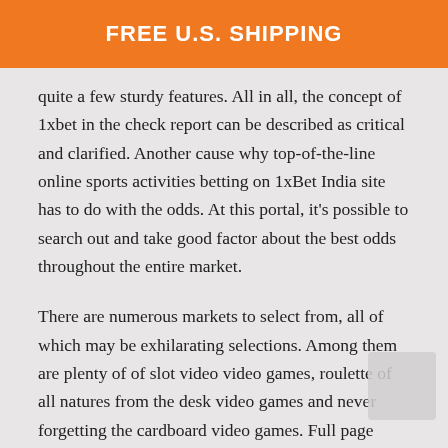FREE U.S. SHIPPING
quite a few sturdy features. All in all, the concept of 1xbet in the check report can be described as critical and clarified. Another cause why top-of-the-line online sports activities betting on 1xBet India site has to do with the odds. At this portal, it's possible to search out and take good factor about the best odds throughout the entire market.
There are numerous markets to select from, all of which may be exhilarating selections. Among them are plenty of of slot video video games, roulette of all natures from the desk video games and never forgetting the cardboard video games. Full page structure provides quick access to all of their betting options on provide.
You may also find extra info on the 1xbet offering on the Nigerian subject with the 1xbet Nigeria examine. 1xBet is one of the world's